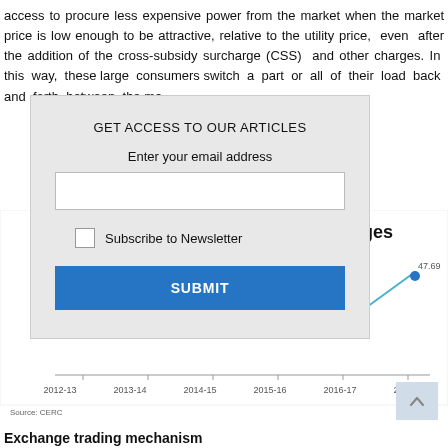access to procure less expensive power from the market when the market price is low enough to be attractive, relative to the utility price, even after the addition of the cross-subsidy surcharge (CSS) and other charges. In this way, these large consumers switch a part or all of their load back and forth between the ma
[Figure (other): Modal dialog box with title 'GET ACCESS TO OUR ARTICLES', email input field, Subscribe to Newsletter checkbox, and SUBMIT button]
[Figure (line-chart): xchanges]
Source: CERC
Exchange trading mechanism